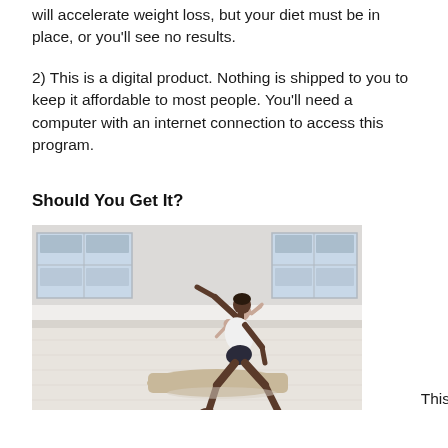will accelerate weight loss, but your diet must be in place, or you'll see no results.
2) This is a digital product. Nothing is shipped to you to keep it affordable to most people. You'll need a computer with an internet connection to access this program.
Should You Get It?
[Figure (photo): Two women doing yoga poses in a bright studio. One woman in the background is in a downward-facing pose; the foreground woman is in a warrior/side angle pose on a mat.]
This